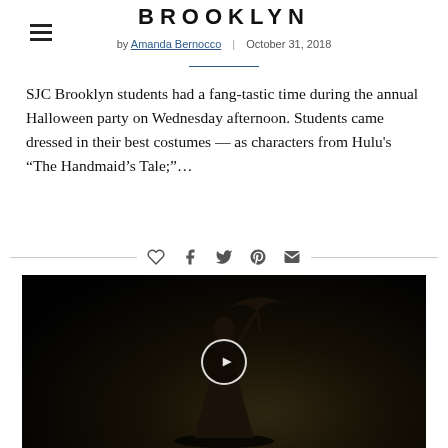BROOKLYN
by Amanda Bernocco | October 31, 2018
SJC Brooklyn students had a fang-tastic time during the annual Halloween party on Wednesday afternoon. Students came dressed in their best costumes — as characters from Hulu's "The Handmaid's Tale;"...
[Figure (photo): Dark photograph of a figure in a long dress holding an umbrella, standing on a dark surface. A circular music/play button icon is overlaid in the center of the image.]